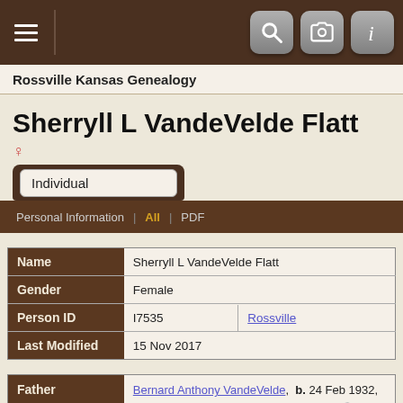Rossville Kansas Genealogy
Sherryll L VandeVelde Flatt
| Field | Value |
| --- | --- |
| Name | Sherryll L VandeVelde Flatt |
| Gender | Female |
| Person ID | I7535  Rossville |
| Last Modified | 15 Nov 2017 |
| Field | Value |
| --- | --- |
| Father | Bernard Anthony VandeVelde,  b. 24 Feb 1932, Emmett, Pottawatomie County, Kansas,  d. 28 May 2009, Topeka, Shawnee County, Kansas  (Age 77 years) |